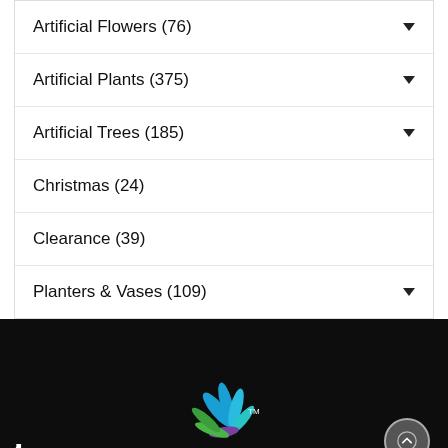Artificial Flowers (76)
Artificial Plants (375)
Artificial Trees (185)
Christmas (24)
Clearance (39)
Planters & Vases (109)
[Figure (logo): Colorful stylized flower/leaf logo with TM mark on dark background, with white partial text visible at bottom left]